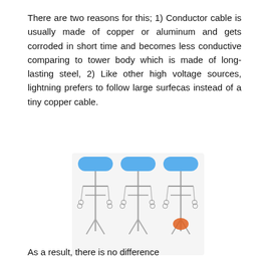There are two reasons for this; 1) Conductor cable is usually made of copper or aluminum and gets corroded in short time and becomes less conductive comparing to tower body which is made of long-lasting steel, 2) Like other high voltage sources, lightning prefers to follow large surfecas instead of a tiny copper cable.
[Figure (illustration): Three illustrated transmission tower figures side by side, each with a blue rounded rectangle at the top. The rightmost tower has an orange/red oval shape near its base, representing a lightning strike or point of interest.]
As a result, there is no difference